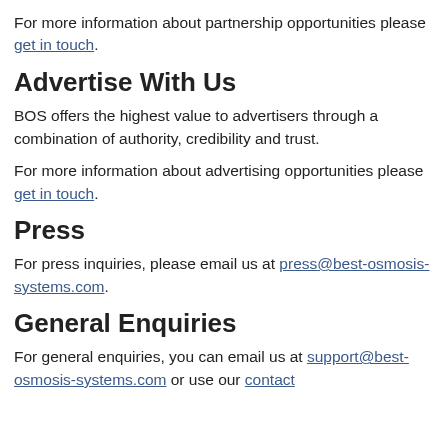For more information about partnership opportunities please get in touch.
Advertise With Us
BOS offers the highest value to advertisers through a combination of authority, credibility and trust.
For more information about advertising opportunities please get in touch.
Press
For press inquiries, please email us at press@best-osmosis-systems.com.
General Enquiries
For general enquiries, you can email us at support@best-osmosis-systems.com or use our contact